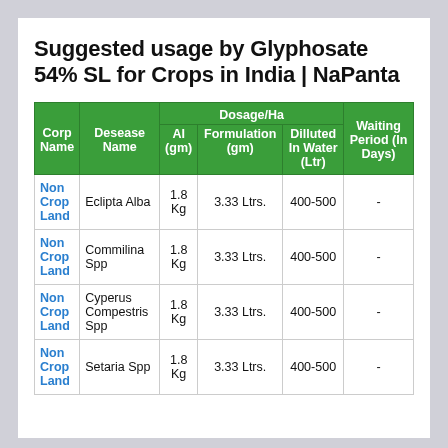Suggested usage by Glyphosate 54% SL for Crops in India | NaPanta
| Corp Name | Desease Name | AI (gm) | Formulation (gm) | Dilluted In Water (Ltr) | Waiting Period (In Days) |
| --- | --- | --- | --- | --- | --- |
| Non Crop Land | Eclipta Alba | 1.8 Kg | 3.33 Ltrs. | 400-500 | - |
| Non Crop Land | Commilina Spp | 1.8 Kg | 3.33 Ltrs. | 400-500 | - |
| Non Crop Land | Cyperus Compestris Spp | 1.8 Kg | 3.33 Ltrs. | 400-500 | - |
| Non Crop Land | Setaria Spp | 1.8 Kg | 3.33 Ltrs. | 400-500 | - |